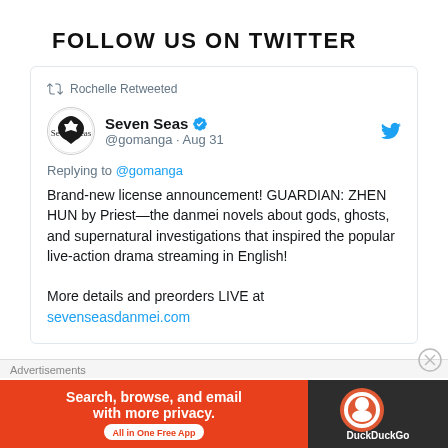FOLLOW US ON TWITTER
[Figure (screenshot): Embedded tweet from Seven Seas (@gomanga) on Aug 31, retweeted by Rochelle. Tweet text: Brand-new license announcement! GUARDIAN: ZHEN HUN by Priest—the danmei novels about gods, ghosts, and supernatural investigations that inspired the popular live-action drama streaming in English! More details and preorders LIVE at sevenseasdanmei.com]
Advertisements
[Figure (infographic): DuckDuckGo advertisement banner: Search, browse, and email with more privacy. All in One Free App]